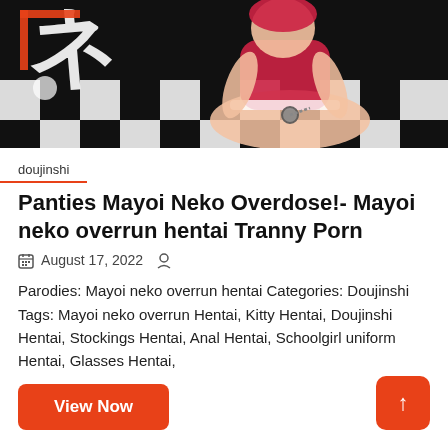[Figure (illustration): Anime-style illustration showing a kneeling female character in a red and white outfit with handcuffs/chains, on a black and white checkered floor with Japanese text in background]
doujinshi
Panties Mayoi Neko Overdose!- Mayoi neko overrun hentai Tranny Porn
August 17, 2022
Parodies: Mayoi neko overrun hentai Categories: Doujinshi Tags: Mayoi neko overrun Hentai, Kitty Hentai, Doujinshi Hentai, Stockings Hentai, Anal Hentai, Schoolgirl uniform Hentai, Glasses Hentai,
View Now
↑